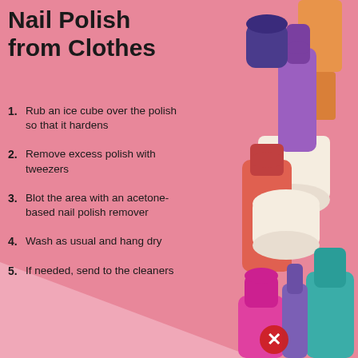Nail Polish from Clothes
1. Rub an ice cube over the polish so that it hardens
2. Remove excess polish with tweezers
3. Blot the area with an acetone-based nail polish remover
4. Wash as usual and hang dry
5. If needed, send to the cleaners
[Figure (illustration): Colorful illustration of multiple nail polish bottles stacked together in pink, purple, coral/red, cream, teal, and orange colors with a red X circle at the bottom]